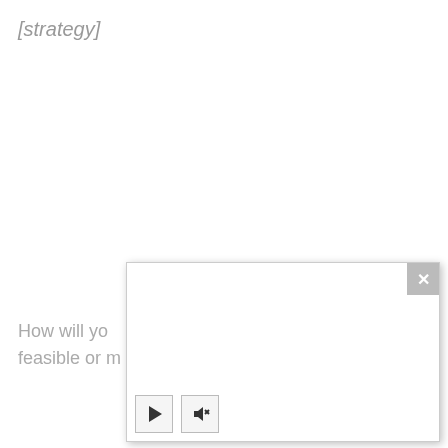[strategy]
How will yo... feasible or m...
[Figure (screenshot): A modal/popup video player overlay box with a close button (X) in the top right corner, a play button and a mute/audio button in the bottom left corner. The video area is blank/white.]